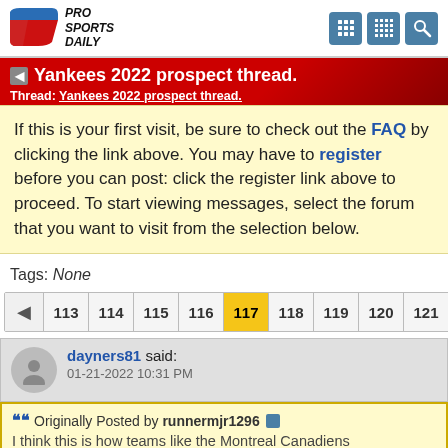Pro Sports Daily
Yankees 2022 prospect thread.
Thread: Yankees 2022 prospect thread.
If this is your first visit, be sure to check out the FAQ by clicking the link above. You may have to register before you can post: click the register link above to proceed. To start viewing messages, select the forum that you want to visit from the selection below.
Tags: None
113 114 115 116 117 118 119 120 121
dayners81 said:
01-21-2022 10:31 PM
Originally Posted by runnermjr1296
I think this is how teams like the Montreal Canadiens